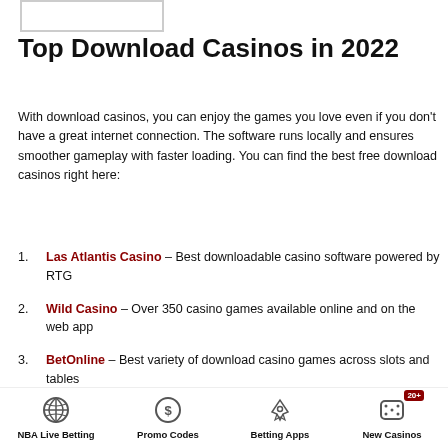[Figure (other): Placeholder box / logo area at top left]
Top Download Casinos in 2022
With download casinos, you can enjoy the games you love even if you don't have a great internet connection. The software runs locally and ensures smoother gameplay with faster loading. You can find the best free download casinos right here:
Las Atlantis Casino – Best downloadable casino software powered by RTG
Wild Casino – Over 350 casino games available online and on the web app
BetOnline – Best variety of download casino games across slots and tables
NBA Live Betting  Promo Codes  Betting Apps  New Casinos